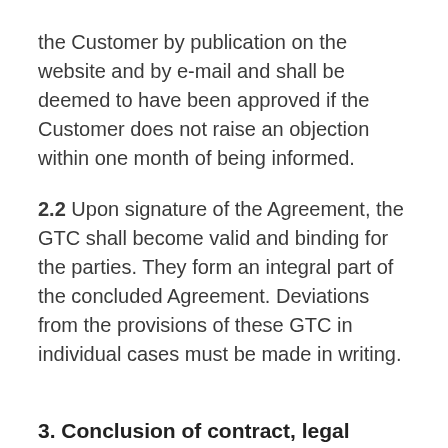the Customer by publication on the website and by e-mail and shall be deemed to have been approved if the Customer does not raise an objection within one month of being informed.
2.2 Upon signature of the Agreement, the GTC shall become valid and binding for the parties. They form an integral part of the concluded Agreement. Deviations from the provisions of these GTC in individual cases must be made in writing.
3. Conclusion of contract, legal relationships, power of attorney